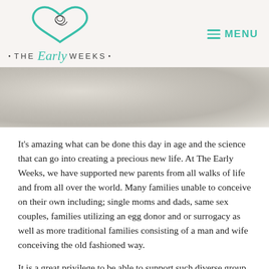THE Early WEEKS — MENU
[Figure (photo): A soft-focus photograph of a person in light clothing, likely holding or near a baby, with a light, airy background in muted beige and grey tones.]
It's amazing what can be done this day in age and the science that can go into creating a precious new life. At The Early Weeks, we have supported new parents from all walks of life and from all over the world. Many families unable to conceive on their own including; single moms and dads, same sex couples, families utilizing an egg donor and or surrogacy as well as more traditional families consisting of a man and wife conceiving the old fashioned way.
It is a great privilege to be able to support such diverse group of new and expecting parents.  In